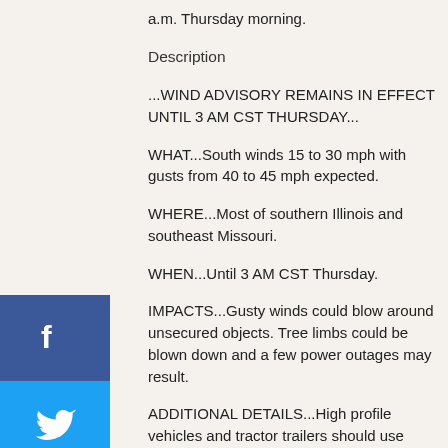a.m. Thursday morning.
Description
...WIND ADVISORY REMAINS IN EFFECT UNTIL 3 AM CST THURSDAY...
WHAT...South winds 15 to 30 mph with gusts from 40 to 45 mph expected.
WHERE...Most of southern Illinois and southeast Missouri.
WHEN...Until 3 AM CST Thursday.
IMPACTS...Gusty winds could blow around unsecured objects. Tree limbs could be blown down and a few power outages may result.
ADDITIONAL DETAILS...High profile vehicles and tractor trailers should use extra caution. Dangerous high wave conditions are expected on area lakes too.
PRECAUTIONARY/PREPAREDNESS ACTIONS...